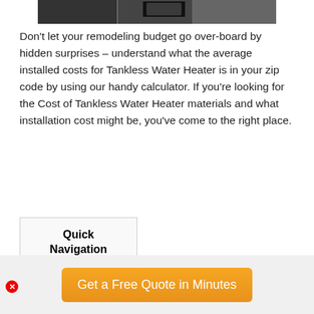[Figure (photo): Partial photo strip showing a dark background image with some objects, cropped at the top of the page]
Don't let your remodeling budget go over-board by hidden surprises – understand what the average installed costs for Tankless Water Heater is in your zip code by using our handy calculator. If you're looking for the Cost of Tankless Water Heater materials and what installation cost might be, you've come to the right place.
Quick Navigation [show]
As an experienced licensed home
Get a Free Quote in Minutes